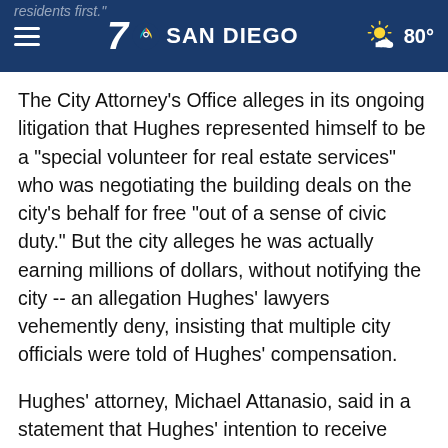7 SAN DIEGO | 80°
The City Attorney's Office alleges in its ongoing litigation that Hughes represented himself to be a "special volunteer for real estate services" who was negotiating the building deals on the city's behalf for free "out of a sense of civic duty." But the city alleges he was actually earning millions of dollars, without notifying the city -- an allegation Hughes' lawyers vehemently deny, insisting that multiple city officials were told of Hughes' compensation.
Hughes' attorney, Michael Attanasio, said in a statement that Hughes' intention to receive compensation was disclosed at the time to numerous city officials and called the settlement proposal a "retreat" by city officials.
". Jason Hughes is not a party to any settlements involving 101